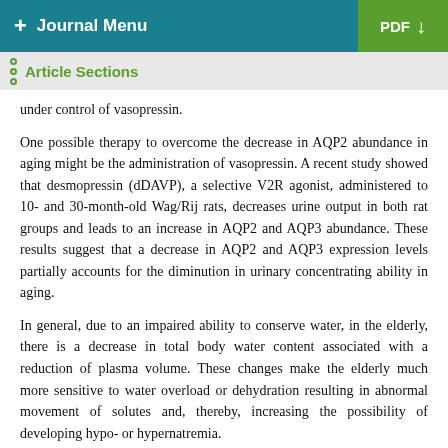+ Journal Menu   PDF ↓
Article Sections
under control of vasopressin.
One possible therapy to overcome the decrease in AQP2 abundance in aging might be the administration of vasopressin. A recent study showed that desmopressin (dDAVP), a selective V2R agonist, administered to 10- and 30-month-old Wag/Rij rats, decreases urine output in both rat groups and leads to an increase in AQP2 and AQP3 abundance. These results suggest that a decrease in AQP2 and AQP3 expression levels partially accounts for the diminution in urinary concentrating ability in aging.
In general, due to an impaired ability to conserve water, in the elderly, there is a decrease in total body water content associated with a reduction of plasma volume. These changes make the elderly much more sensitive to water overload or dehydration resulting in abnormal movement of solutes and, thereby, increasing the possibility of developing hypo- or hypernatremia.